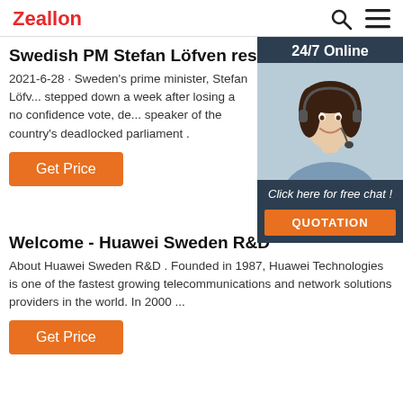Zeallon [search icon] [menu icon]
Swedish PM Stefan Löfven resigns after losing confidence ...
2021-6-28 · Sweden's prime minister, Stefan Löfven, stepped down a week after losing a no confidence vote, delivering a letter to the speaker of the country's deadlocked parliament .
[Figure (photo): 24/7 Online customer service representative with headset, with 'Click here for free chat!' and 'QUOTATION' button]
Get Price
Welcome - Huawei Sweden R&D
About Huawei Sweden R&D . Founded in 1987, Huawei Technologies is one of the fastest growing telecommunications and network solutions providers in the world. In 2000 ...
Get Price